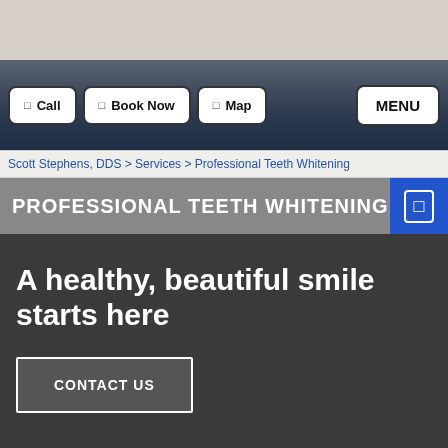Call | Book Now | Map | MENU
Scott Stephens, DDS > Services > Professional Teeth Whitening
PROFESSIONAL TEETH WHITENING
A healthy, beautiful smile starts here
CONTACT US